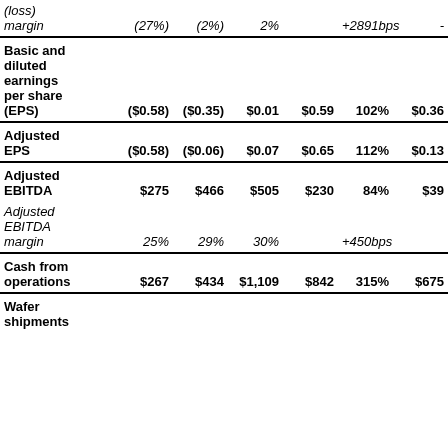| Metric | Col1 | Col2 | Col3 | Col4 | Col5 | Col6 |
| --- | --- | --- | --- | --- | --- | --- |
| Income (loss) margin | (27%) | (2%) | 2% |  | +2891bps | - |
| Basic and diluted earnings per share (EPS) | ($0.58) | ($0.35) | $0.01 | $0.59 | 102% | $0.36 |
| Adjusted EPS | ($0.58) | ($0.06) | $0.07 | $0.65 | 112% | $0.13 |
| Adjusted EBITDA | $275 | $466 | $505 | $230 | 84% | $39 |
| Adjusted EBITDA margin | 25% | 29% | 30% |  | +450bps |  |
| Cash from operations | $267 | $434 | $1,109 | $842 | 315% | $675 |
| Wafer shipments |  |  |  |  |  |  |